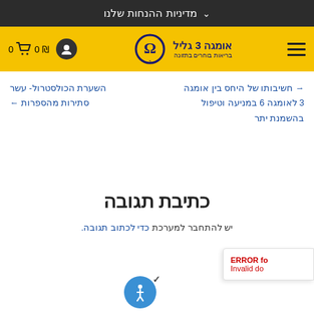מדיניות ההנחות שלנו
[Figure (logo): אומגה 3 גליל nutrition store logo with omega symbol on yellow navigation bar]
חשיבותו של היחס בין אומגה 3 לאומגה 6 במניעה וטיפול בהשמנת יתר
השערת הכולסטרול- עשר סתירות מהספרות
כתיבת תגובה
יש להתחבר למערכת כדי לכתוב תגובה.